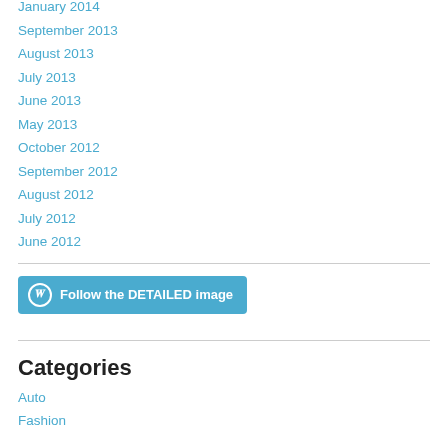January 2014
September 2013
August 2013
July 2013
June 2013
May 2013
October 2012
September 2012
August 2012
July 2012
June 2012
[Figure (other): WordPress Follow Button: 'Follow the DETAILED image']
Categories
Auto
Fashion